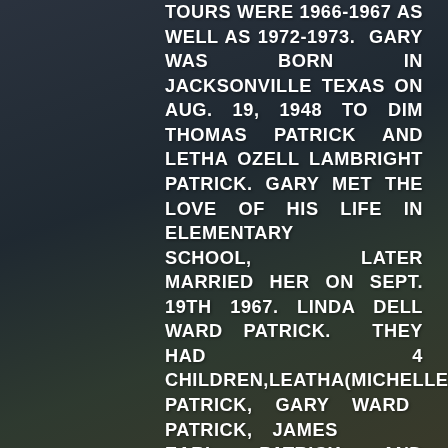TOURS WERE 1966-1967 AS WELL AS 1972-1973. GARY WAS BORN IN JACKSONVILLE TEXAS ON AUG. 19, 1948 TO DIM THOMAS PATRICK AND LETHA OZELL LAMBRIGHT PATRICK. GARY MET THE LOVE OF HIS LIFE IN ELEMENTARY SCHOOL, LATER MARRIED HER ON SEPT. 19TH 1967. LINDA DELL WARD PATRICK. THEY HAD 4 CHILDREN,LEATHA(MICHELLE) PATRICK, GARY WARD PATRICK, JAMES EARL PATRICK, AND CHRISTOPHER JAMES PATRICK. MICHELLE MARRIED STEVEN LEROY MCKINNEY, GARY MARRIED CATHERINE LYNN BUCKBEE, JAMES MARRIED REBECCA MAE SKALSKY. HIS GRANDCHILDREN WERE HIS 2ND. LOVE OF HIS LIFE, CINDY LYNN, ERIC JAMES AND HIS WIFE ROBI GOSDA,DAMIEN MICHAEL,